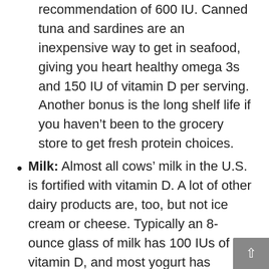recommendation of 600 IU. Canned tuna and sardines are an inexpensive way to get in seafood, giving you heart healthy omega 3s and 150 IU of vitamin D per serving. Another bonus is the long shelf life if you haven't been to the grocery store to get fresh protein choices.
Milk: Almost all cows' milk in the U.S. is fortified with vitamin D. A lot of other dairy products are, too, but not ice cream or cheese. Typically an 8-ounce glass of milk has 100 IUs of vitamin D, and most yogurt has around 80 IU for a 6-ounce container. If you are choosing soymilk or almond milk, most are fortified, but check the labels to be sure.
Fortified orange juice: If you aren't a fan of milk or have lactose intolerance, 100% orange juice is an option. Typically an 8-ounce glass has the same amount of vitamin D as a glass of milk